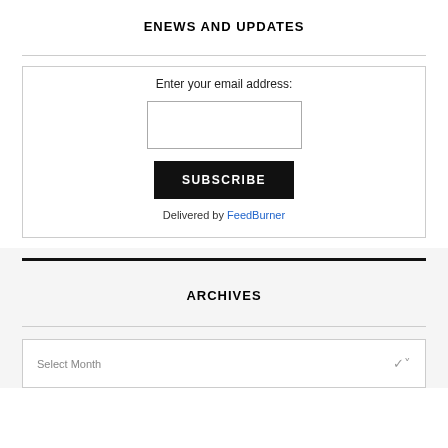ENEWS AND UPDATES
Enter your email address:
[Figure (other): Email input text field (empty)]
SUBSCRIBE
Delivered by FeedBurner
ARCHIVES
Select Month